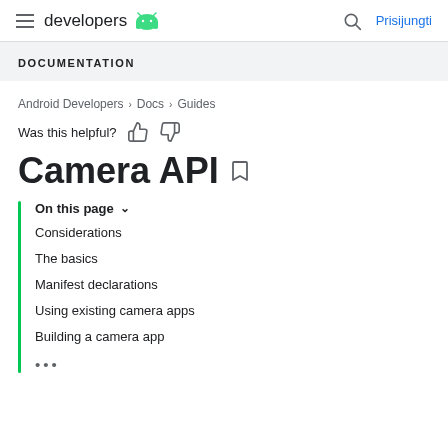developers | Prisijungti
DOCUMENTATION
Android Developers > Docs > Guides
Was this helpful?
Camera API
On this page
Considerations
The basics
Manifest declarations
Using existing camera apps
Building a camera app
...